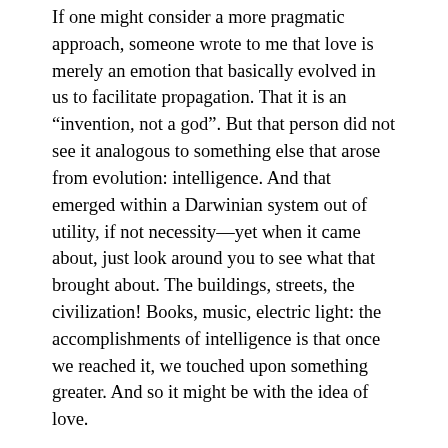If one might consider a more pragmatic approach, someone wrote to me that love is merely an emotion that basically evolved in us to facilitate propagation. That it is an “invention, not a god”. But that person did not see it analogous to something else that arose from evolution: intelligence. And that emerged within a Darwinian system out of utility, if not necessity—yet when it came about, just look around you to see what that brought about. The buildings, streets, the civilization! Books, music, electric light: the accomplishments of intelligence is that once we reached it, we touched upon something greater. And so it might be with the idea of love.
Yes, it helped us evolutionarily, one can argue. It helped us help each other, first the closest family, then friends, then more abstract structures, like community and country. People have written papers about how selfless love is a benefit rather than a